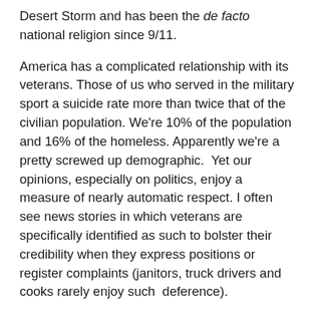Desert Storm and has been the de facto national religion since 9/11.
America has a complicated relationship with its veterans. Those of us who served in the military sport a suicide rate more than twice that of the civilian population. We're 10% of the population and 16% of the homeless. Apparently we're a pretty screwed up demographic.  Yet our opinions, especially on politics, enjoy a measure of nearly automatic respect. I often see news stories in which veterans are specifically identified as such to bolster their credibility when they express positions or register complaints (janitors, truck drivers and cooks rarely enjoy such  deference).
This bothers me, in part because it tempts me. Anecdotally, it seems to me that veterans are over-represented in my own political ponds, the libertarian movement and the Libertarian Party. It's tempting to assume that that's because, like me, many other veterans see how wasteful and deadly big